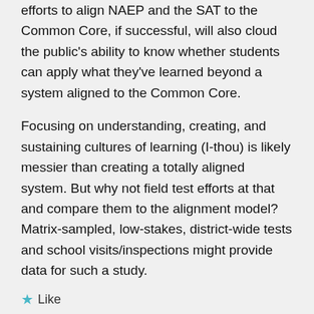efforts to align NAEP and the SAT to the Common Core, if successful, will also cloud the public's ability to know whether students can apply what they've learned beyond a system aligned to the Common Core.
Focusing on understanding, creating, and sustaining cultures of learning (I-thou) is likely messier than creating a totally aligned system. But why not field test efforts at that and compare them to the alignment model? Matrix-sampled, low-stakes, district-wide tests and school visits/inspections might provide data for such a study.
Like